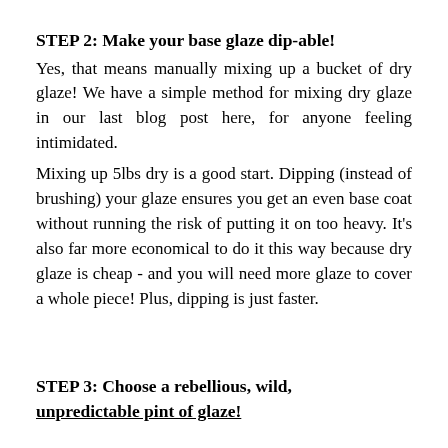STEP 2: Make your base glaze dip-able!
Yes, that means manually mixing up a bucket of dry glaze! We have a simple method for mixing dry glaze in our last blog post here, for anyone feeling intimidated.
Mixing up 5lbs dry is a good start. Dipping (instead of brushing) your glaze ensures you get an even base coat without running the risk of putting it on too heavy. It's also far more economical to do it this way because dry glaze is cheap - and you will need more glaze to cover a whole piece! Plus, dipping is just faster.
STEP 3: Choose a rebellious, wild, unpredictable pint of glaze!